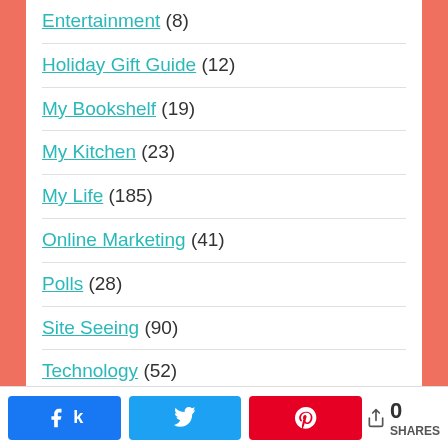Entertainment (8)
Holiday Gift Guide (12)
My Bookshelf (19)
My Kitchen (23)
My Life (185)
Online Marketing (41)
Polls (28)
Site Seeing (90)
Technology (52)
Travel (36)
WordPress (4)
I ALSO BLOG ...
k 0 SHARES  Twitter  Pinterest